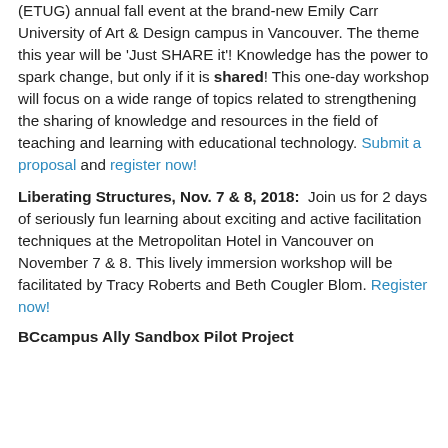(ETUG) annual fall event at the brand-new Emily Carr University of Art & Design campus in Vancouver. The theme this year will be 'Just SHARE it'! Knowledge has the power to spark change, but only if it is shared! This one-day workshop will focus on a wide range of topics related to strengthening the sharing of knowledge and resources in the field of teaching and learning with educational technology. Submit a proposal and register now!
Liberating Structures, Nov. 7 & 8, 2018: Join us for 2 days of seriously fun learning about exciting and active facilitation techniques at the Metropolitan Hotel in Vancouver on November 7 & 8. This lively immersion workshop will be facilitated by Tracy Roberts and Beth Cougler Blom. Register now!
BCcampus Ally Sandbox Pilot Project